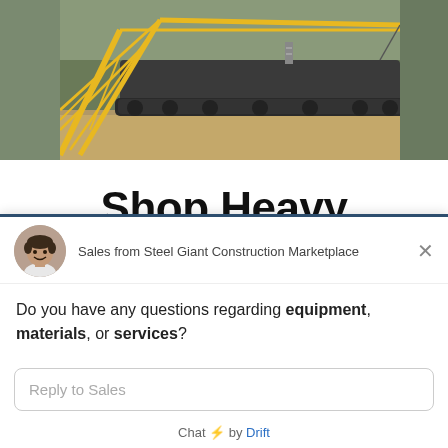[Figure (photo): Construction site photo showing a large tracked crawler/crane machine with yellow lattice boom structure on a dirt field with dry grass and trees in background]
Shop Heavy
[Figure (screenshot): Chat widget overlay from Drift. Shows avatar of smiling man, agent name 'Sales from Steel Giant Construction Marketplace', message 'Do you have any questions regarding equipment, materials, or services?', reply input box saying 'Reply to Sales', and footer 'Chat by Drift']